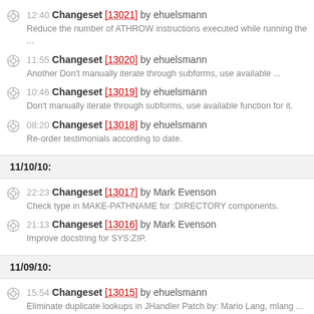12:40 Changeset [13021] by ehuelsmann — Reduce the number of ATHROW instructions executed while running the ...
11:55 Changeset [13020] by ehuelsmann — Another Don't manually iterate through subforms, use available ...
10:46 Changeset [13019] by ehuelsmann — Don't manually iterate through subforms, use available function for it.
08:20 Changeset [13018] by ehuelsmann — Re-order testimonials according to date.
11/10/10:
22:23 Changeset [13017] by Mark Evenson — Check type in MAKE-PATHNAME for :DIRECTORY components.
21:13 Changeset [13016] by Mark Evenson — Improve docstring for SYS:ZIP.
11/09/10:
15:54 Changeset [13015] by ehuelsmann — Eliminate duplicate lookups in JHandler Patch by: Mario Lang, mlang ...